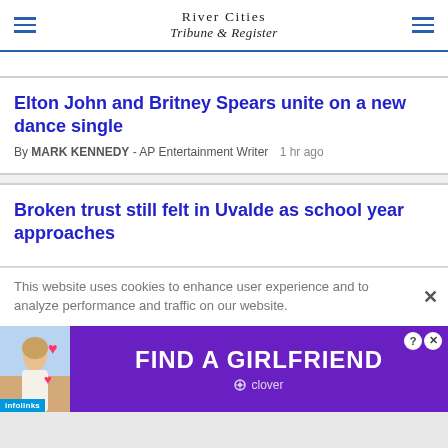River Cities Tribune & Register
Elton John and Britney Spears unite on a new dance single
By MARK KENNEDY - AP Entertainment Writer  1 hr ago
Broken trust still felt in Uvalde as school year approaches
This website uses cookies to enhance user experience and to analyze performance and traffic on our website.
[Figure (other): Advertisement banner: FIND A GIRLFRIEND - clover app, with infolinks badge and a photo of a woman with pink hearts]